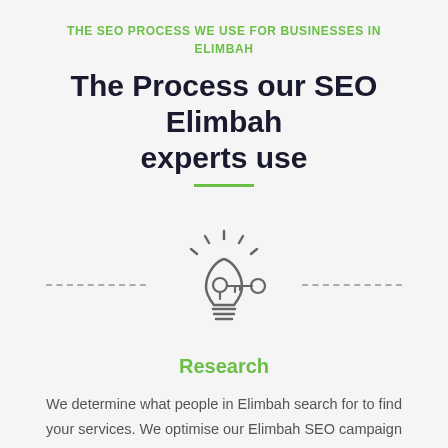THE SEO PROCESS WE USE FOR BUSINESSES IN ELIMBAH
The Process our SEO Elimbah experts use
[Figure (illustration): Light bulb icon with a key through the keyhole, flanked by dashed lines on each side, representing research/key ideas]
Research
We determine what people in Elimbah search for to find your services. We optimise our Elimbah SEO campaign